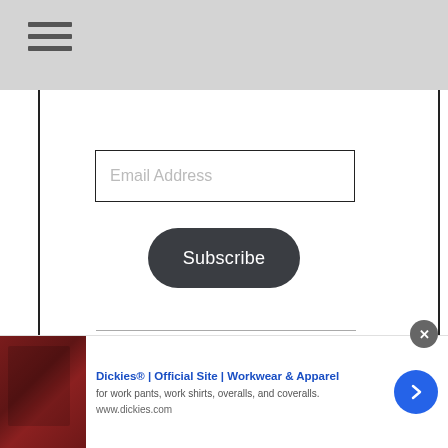[Figure (screenshot): Gray top navigation bar with hamburger menu icon (three horizontal lines)]
Email Address
[Figure (screenshot): Dark rounded Subscribe button with white text]
BRAND NEW
[Figure (screenshot): Advertisement banner: Dickies® | Official Site | Workwear & Apparel — for work pants, work shirts, overalls, and coveralls. www.dickies.com — with product image and blue arrow button]